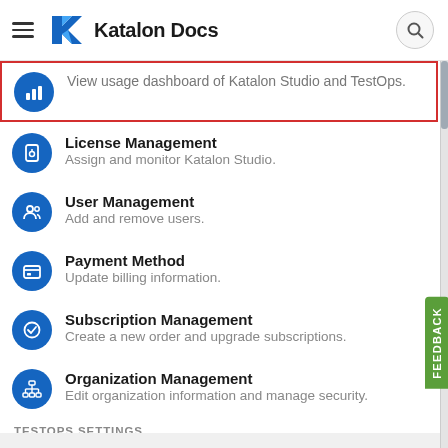Katalon Docs
View usage dashboard of Katalon Studio and TestOps.
License Management — Assign and monitor Katalon Studio.
User Management — Add and remove users.
Payment Method — Update billing information.
Subscription Management — Create a new order and upgrade subscriptions.
Organization Management — Edit organization information and manage security.
TESTOPS SETTINGS
Team Management — Create teams and manage teams.